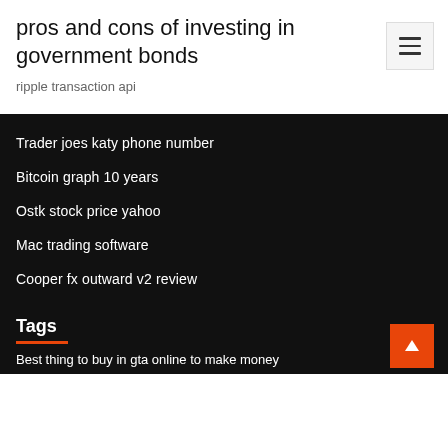pros and cons of investing in government bonds
ripple transaction api
Trader joes katy phone number
Bitcoin graph 10 years
Ostk stock price yahoo
Mac trading software
Cooper fx outward v2 review
Tags
Best thing to buy in gta online to make money